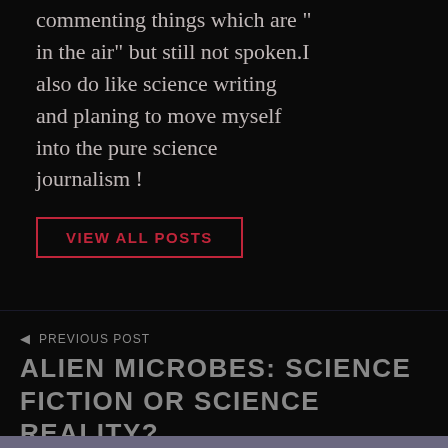commenting things which are "in the air" but still not spoken.I also do like science writing and planing to move myself into the pure science journalism !
VIEW ALL POSTS
PREVIOUS POST
ALIEN MICROBES: SCIENCE FICTION OR SCIENCE REALITY?